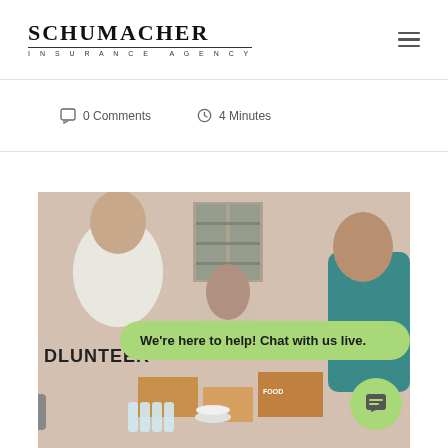SCHUMACHER INSURANCE AGENCY
0 Comments   4 Minutes
[Figure (photo): Volunteers at a food distribution event; people wearing volunteer shirts sorting food and water supplies. A live chat bubble overlay reads 'We're here to help! Chat with us live.']